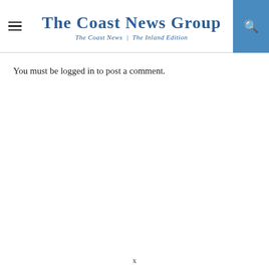The Coast News Group — The Coast News | The Inland Edition
You must be logged in to post a comment.
x